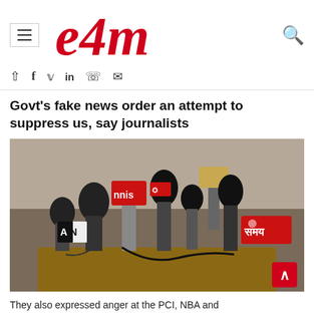e4m
Govt's fake news order an attempt to suppress us, say journalists
[Figure (photo): A cluster of press conference microphones from various news channels including NNIS, Aaj Tak, and Samay TV, held together in a bundle at a press conference.]
They also expressed anger at the PCI, NBA and